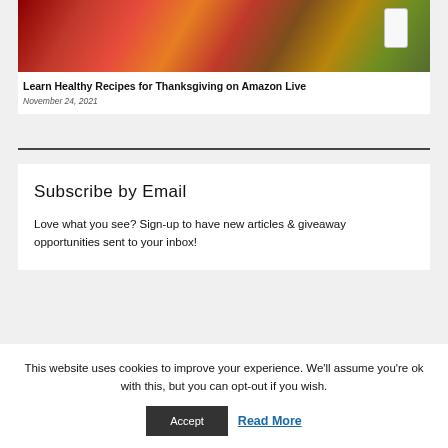[Figure (photo): Photo of autumn leaves (red, orange, yellow) with a hand holding a smartphone, visible in the top portion of the page as an article thumbnail image]
Learn Healthy Recipes for Thanksgiving on Amazon Live
November 24, 2021
Subscribe by Email
Love what you see? Sign-up to have new articles & giveaway opportunities sent to your inbox!
This website uses cookies to improve your experience. We'll assume you're ok with this, but you can opt-out if you wish.
Accept
Read More